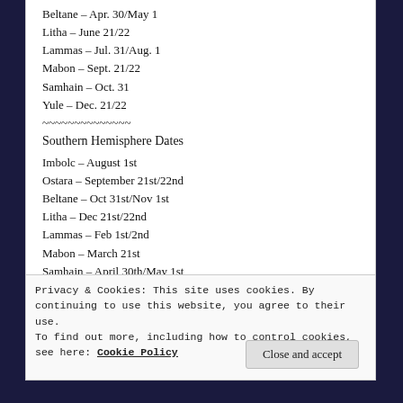Beltane – Apr. 30/May 1
Litha – June 21/22
Lammas – Jul. 31/Aug. 1
Mabon – Sept. 21/22
Samhain – Oct. 31
Yule – Dec. 21/22
~~~~~~~~~~~~~~
Southern Hemisphere Dates
Imbolc – August 1st
Ostara – September 21st/22nd
Beltane – Oct 31st/Nov 1st
Litha – Dec 21st/22nd
Lammas – Feb 1st/2nd
Mabon – March 21st
Samhain – April 30th/May 1st
Privacy & Cookies: This site uses cookies. By continuing to use this website, you agree to their use.
To find out more, including how to control cookies, see here: Cookie Policy
Close and accept